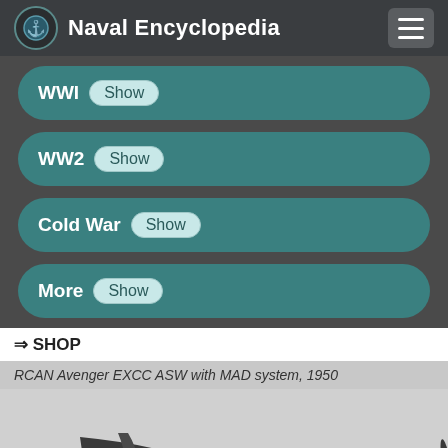Naval Encyclopedia
WWI Show
WW2 Show
Cold War Show
More Show
⇒ SHOP
RCAN Avenger EXCC ASW with MAD system, 1950
[Figure (photo): Black and white photograph of a RCAN Avenger EXCC ASW aircraft with MAD system in flight, aircraft number 2253, circa 1950]